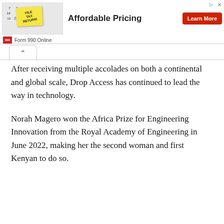[Figure (screenshot): Advertisement banner for Form 990 Online with calendar image, 'Affordable Pricing' text, and red 'Learn More' button]
After receiving multiple accolades on both a continental and global scale, Drop Access has continued to lead the way in technology.
Norah Magero won the Africa Prize for Engineering Innovation from the Royal Academy of Engineering in June 2022, making her the second woman and first Kenyan to do so.